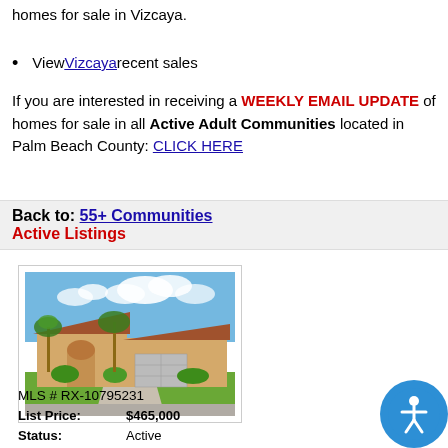homes for sale in Vizcaya.
View Vizcaya recent sales
If you are interested in receiving a WEEKLY EMAIL UPDATE of homes for sale in all Active Adult Communities located in Palm Beach County: CLICK HERE
Back to: 55+ Communities
Active Listings
[Figure (photo): Exterior photo of a Florida single-story home with tan stucco walls, terracotta roof tiles, two-car garage, palm trees and landscaping, blue sky with clouds]
MLS # RX-10795231
List Price: $465,000
Status: Active
Subdivision: VIZCAYA 2
Bedroom(s): 2
Bath(s): 2 full